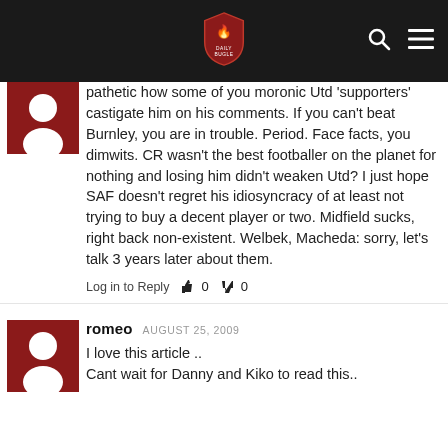Daily Bugle website header with logo, search and menu icons
pathetic how some of you moronic Utd 'supporters' castigate him on his comments. If you can't beat Burnley, you are in trouble. Period. Face facts, you dimwits. CR wasn't the best footballer on the planet for nothing and losing him didn't weaken Utd? I just hope SAF doesn't regret his idiosyncracy of at least not trying to buy a decent player or two. Midfield sucks, right back non-existent. Welbek, Macheda: sorry, let's talk 3 years later about them.
Log in to Reply   👍 0   👎 0
romeo AUGUST 25, 2009
I love this article ..
Cant wait for Danny and Kiko to read this..